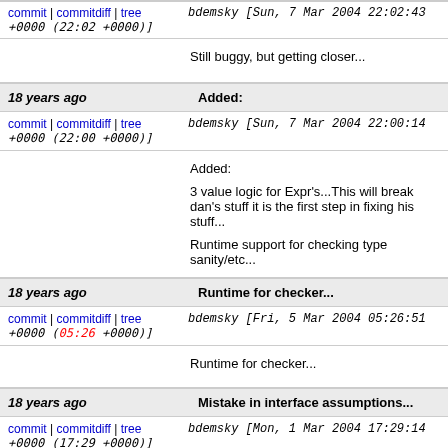commit | commitdiff | tree   bdemsky [Sun, 7 Mar 2004 22:02:43 +0000 (22:02 +0000)]
Still buggy, but getting closer...
18 years ago   Added:
commit | commitdiff | tree   bdemsky [Sun, 7 Mar 2004 22:00:14 +0000 (22:00 +0000)]
Added:
3 value logic for Expr's...This will break dan's stuff it is the first step in fixing his stuff...
Runtime support for checking type sanity/etc...
18 years ago   Runtime for checker...
commit | commitdiff | tree   bdemsky [Fri, 5 Mar 2004 05:26:51 +0000 (05:26 +0000)]
Runtime for checker...
18 years ago   Mistake in interface assumptions...
commit | commitdiff | tree   bdemsky [Mon, 1 Mar 2004 17:29:14 +0000 (17:29 +0000)]